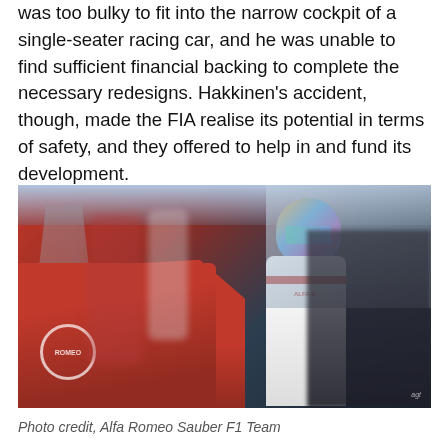was too bulky to fit into the narrow cockpit of a single-seater racing car, and he was unable to find sufficient financial backing to complete the necessary redesigns. Hakkinen's accident, though, made the FIA realise its potential in terms of safety, and they offered to help in and fund its development.
[Figure (photo): A racing driver in white Alfa Romeo Sauber F1 Team suit and colorful helmet (blue, orange, yellow) standing in the pit garage. Red Alfa Romeo F1 car visible on the left with the Alfa Romeo logo. Blurred team members in the background. Motion blur effect on background.]
Photo credit, Alfa Romeo Sauber F1 Team